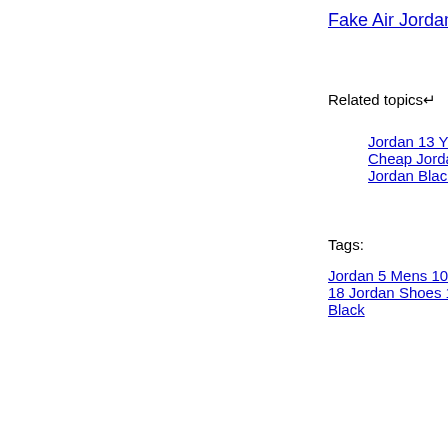Fake Air Jordan R…
Related topics↵
Jordan 13 Y…
Cheap Jorda…
Jordan Blac…
Tags:
Jordan 5 Mens 10
18 Jordan Shoes 1
Black
© Copyright 2001-2020 10 Day Forecase … | Air Jordan 10 Retro 310835-100 | Jordan 1 Banned Size 10 | Gir…